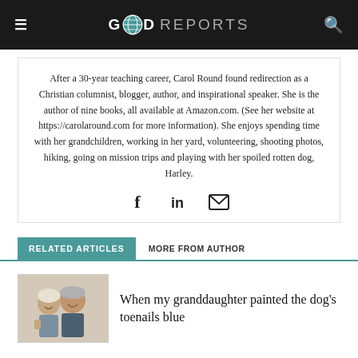GOD REPORTS
After a 30-year teaching career, Carol Round found redirection as a Christian columnist, blogger, author, and inspirational speaker. She is the author of nine books, all available at Amazon.com. (See her website at https://carolaround.com for more information). She enjoys spending time with her grandchildren, working in her yard, volunteering, shooting photos, hiking, going on mission trips and playing with her spoiled rotten dog, Harley.
[Figure (other): Social media icons: Facebook, LinkedIn, Email]
RELATED ARTICLES    MORE FROM AUTHOR
[Figure (photo): Photo of an elderly couple smiling, used as article thumbnail]
When my granddaughter painted the dog's toenails blue